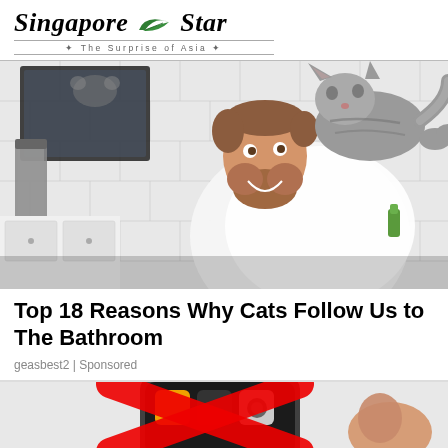Singapore Star · The Surprise of Asia
[Figure (photo): Man smiling at bathroom sink while a cat stands on his shoulder/back. Subway tile bathroom with mirror, grey towel hanging, white cabinets. Cat is grey tabby looking toward camera.]
Top 18 Reasons Why Cats Follow Us to The Bathroom
geasbest2 | Sponsored
[Figure (photo): Partial image showing a smartphone with a red X overlay and a thumb on the right side, on a light grey background.]